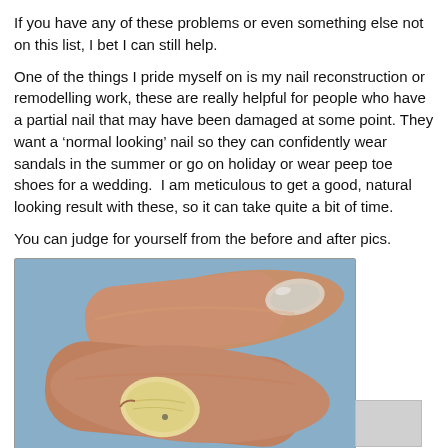If you have any of these problems or even something else not on this list, I bet I can still help.
One of the things I pride myself on is my nail reconstruction or remodelling work, these are really helpful for people who have a partial nail that may have been damaged at some point. They want a ‘normal looking’ nail so they can confidently wear sandals in the summer or go on holiday or wear peep toe shoes for a wedding.  I am meticulous to get a good, natural looking result with these, so it can take quite a bit of time.
You can judge for yourself from the before and after pics.
[Figure (photo): Close-up photograph of two toes side by side. The upper toe has a normal-looking nail. The lower toe has a severely damaged, thickened, yellowed partial nail remnant. The background is light blue.]